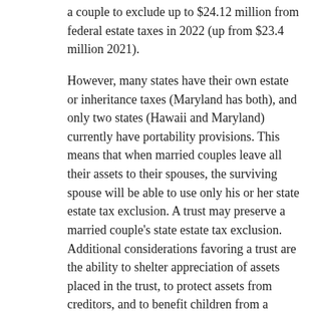a couple to exclude up to $24.12 million from federal estate taxes in 2022 (up from $23.4 million 2021).
However, many states have their own estate or inheritance taxes (Maryland has both), and only two states (Hawaii and Maryland) currently have portability provisions. This means that when married couples leave all their assets to their spouses, the surviving spouse will be able to use only his or her state estate tax exclusion. A trust may preserve a married couple’s state estate tax exclusion. Additional considerations favoring a trust are the ability to shelter appreciation of assets placed in the trust, to protect assets from creditors, and to benefit children from a previous marriage.
How an A-B Trust Works
Using a living trust with an A-B provision (aka A-B or marital and bypass trust), you ensure that both you and your spouse can take advantage of the...